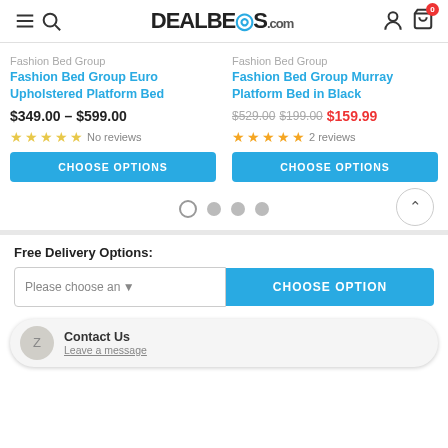DEALBEOS.com
Fashion Bed Group
Fashion Bed Group Euro Upholstered Platform Bed
$349.00 – $599.00
No reviews
Fashion Bed Group
Fashion Bed Group Murray Platform Bed in Black
$529.00 $199.00 $159.99
2 reviews
Free Delivery Options:
Please choose an option
CHOOSE OPTION
Contact Us
Leave a message